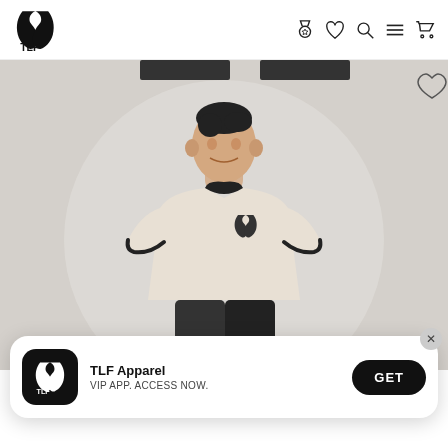TLF Apparel website header with logo and navigation icons
[Figure (photo): A muscular male model wearing a fitted white/beige short-sleeve athletic t-shirt with black trim at the collar and sleeves, and a small TLF logo on the chest. Background is light grey.]
TLF Apparel
VIP APP. ACCESS NOW.
GET